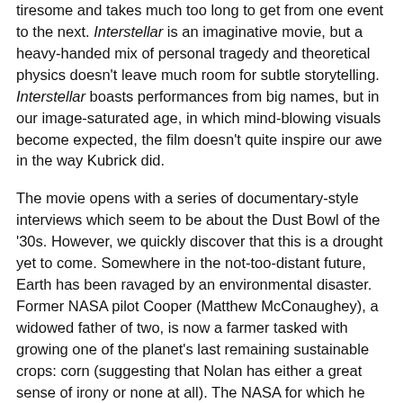tiresome and takes much too long to get from one event to the next. Interstellar is an imaginative movie, but a heavy-handed mix of personal tragedy and theoretical physics doesn't leave much room for subtle storytelling. Interstellar boasts performances from big names, but in our image-saturated age, in which mind-blowing visuals become expected, the film doesn't quite inspire our awe in the way Kubrick did.
The movie opens with a series of documentary-style interviews which seem to be about the Dust Bowl of the '30s. However, we quickly discover that this is a drought yet to come. Somewhere in the not-too-distant future, Earth has been ravaged by an environmental disaster. Former NASA pilot Cooper (Matthew McConaughey), a widowed father of two, is now a farmer tasked with growing one of the planet's last remaining sustainable crops: corn (suggesting that Nolan has either a great sense of irony or none at all). The NASA for which he once flew, believed to have long been disbanded, has in fact gone underground. As Cooper soon